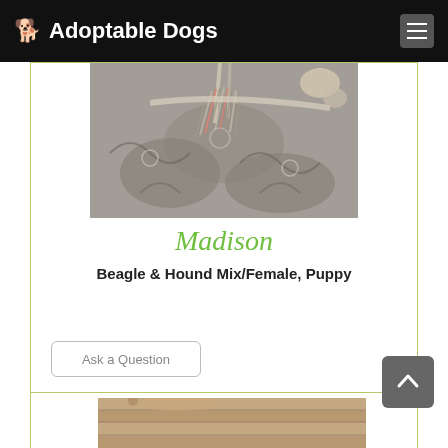🐕 Adoptable Dogs
[Figure (photo): A dog lying on a patterned grey/white rug or blanket with rope toy visible, photographed from above]
Madison
Beagle & Hound Mix/Female, Puppy
Ask a Question
Details
[Figure (photo): Partial view of another dog on wooden surface, bottom of page]